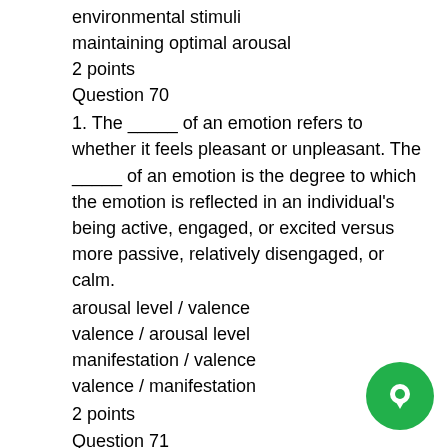environmental stimuli
maintaining optimal arousal
2 points
Question 70
1. The ____ of an emotion refers to whether it feels pleasant or unpleasant. The ____ of an emotion is the degree to which the emotion is reflected in an individual's being active, engaged, or excited versus more passive, relatively disengaged, or calm.
arousal level / valence
valence / arousal level
manifestation / valence
valence / manifestation
2 points
Question 71
1. Soccer players are expected to congratulate and shake hands with the opposing team, even when their team loses the game. This is an example of ____.